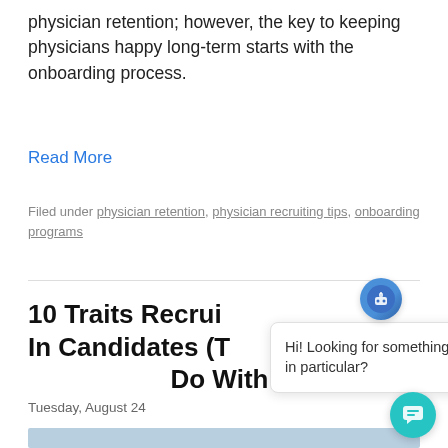physician retention; however, the key to keeping physicians happy long-term starts with the onboarding process.
Read More
Filed under physician retention, physician recruiting tips, onboarding programs
10 Traits Recruiters Look For In Candidates (That Have Nothing To Do With Medicine)
Tuesday, August 24
[Figure (photo): Photo of a man (physician/candidate) at the bottom of the page]
[Figure (other): Chat popup widget with bot icon and message 'Hi! Looking for something in particular?' with close button]